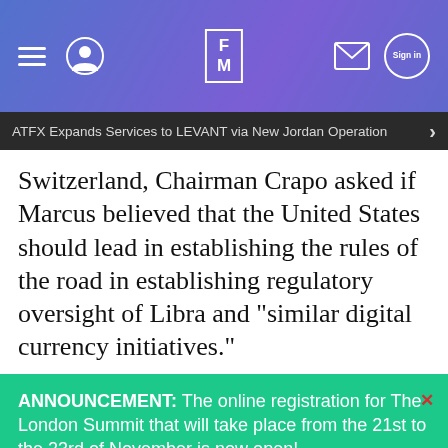FM — Finance Magnates header with hamburger menu, user icon, logo, mail icon, sign in
ATFX Expands Services to LEVANT via New Jordan Operation
Switzerland, Chairman Crapo asked if Marcus believed that the United States should lead in establishing the rules of the road in establishing regulatory oversight of Libra and "similar digital currency initiatives."
ANNOUNCEMENT: The online registration for The London Summit that will take place from the 21st to the 23rd of November is now open!
GET YOUR PASS →